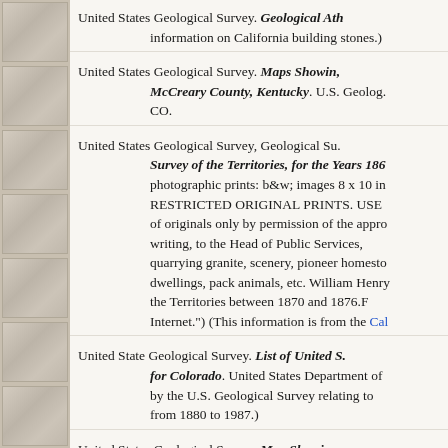United States Geological Survey. Geological Atl... information on California building stones.)
United States Geological Survey. Maps Showing... McCreary County, Kentucky. U.S. Geolog... CO.
United States Geological Survey, Geological Su... Survey of the Territories, for the Years 186... photographic prints: b&w; images 8 x 10 in... RESTRICTED ORIGINAL PRINTS. USE... of originals only by permission of the appro... writing, to the Head of Public Services,... quarrying granite, scenery, pioneer homesto... dwellings, pack animals, etc. William Henry... the Territories between 1870 and 1876.F... Internet.") (This information is from the Cal...
United State Geological Survey. List of United S... for Colorado. United States Department of... by the U.S. Geological Survey relating to... from 1880 to 1987.)
United States Geological Survey. Map Showing... Teton County, Wyoming. United States G...